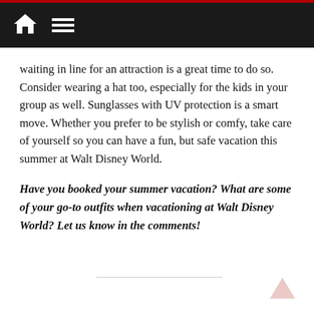[navigation bar with home icon and menu icon]
waiting in line for an attraction is a great time to do so. Consider wearing a hat too, especially for the kids in your group as well. Sunglasses with UV protection is a smart move. Whether you prefer to be stylish or comfy, take care of yourself so you can have a fun, but safe vacation this summer at Walt Disney World.
Have you booked your summer vacation? What are some of your go-to outfits when vacationing at Walt Disney World? Let us know in the comments!